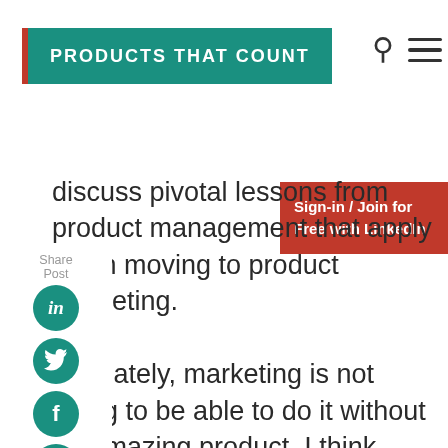PRODUCTS THAT COUNT
discuss pivotal lessons from product management that apply when moving to product marketing. Ultimately, marketing is not going to be able to do it without an amazing product. I think everyone knows that, and so the advantage, when product creates something like a growth loop, is that marketing can accentuate it and build on it.”
Sign-in / Join for Free with LinkedIn